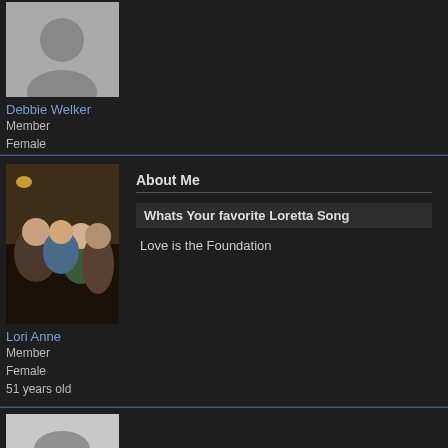[Figure (photo): Profile photo of Debbie Welker, partially visible at top]
Debbie Welker
Member
Female
[Figure (photo): Group photo showing multiple people, profile of Lori Anne]
Lori Anne
Member
Female
51 years old
About Me
Whats Your favorite Loretta Song
Love is the Foundation
[Figure (photo): Default silhouette avatar photo for Deb]
Deb
Member
Female
66 years old